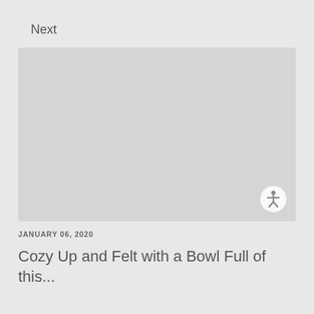Next
[Figure (photo): Placeholder image area with light gray background and an accessibility icon in the bottom-right corner]
JANUARY 06, 2020
Cozy Up and Felt with a Bowl Full of this...